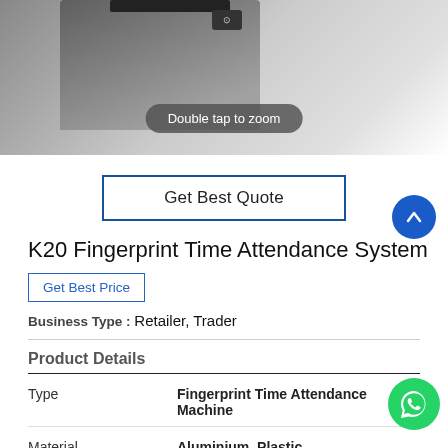[Figure (photo): Product photo of K20 Fingerprint Time Attendance System device, partial view showing back/side, with 'Double tap to zoom' pill overlay]
Get Best Quote
K20 Fingerprint Time Attendance System
Get Best Price
Business Type : Retailer, Trader
Product Details
|  |  |
| --- | --- |
| Type | Fingerprint Time Attendance Machine |
| Material | Aluminium, Plastic |
| Shape | Rectangular, Square |